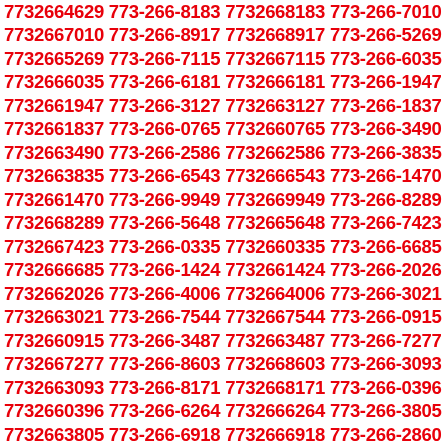7732664629 773-266-8183 7732668183 773-266-7010 7732667010 773-266-8917 7732668917 773-266-5269 7732665269 773-266-7115 7732667115 773-266-6035 7732666035 773-266-6181 7732666181 773-266-1947 7732661947 773-266-3127 7732663127 773-266-1837 7732661837 773-266-0765 7732660765 773-266-3490 7732663490 773-266-2586 7732662586 773-266-3835 7732663835 773-266-6543 7732666543 773-266-1470 7732661470 773-266-9949 7732669949 773-266-8289 7732668289 773-266-5648 7732665648 773-266-7423 7732667423 773-266-0335 7732660335 773-266-6685 7732666685 773-266-1424 7732661424 773-266-2026 7732662026 773-266-4006 7732664006 773-266-3021 7732663021 773-266-7544 7732667544 773-266-0915 7732660915 773-266-3487 7732663487 773-266-7277 7732667277 773-266-8603 7732668603 773-266-3093 7732663093 773-266-8171 7732668171 773-266-0396 7732660396 773-266-6264 7732666264 773-266-3805 7732663805 773-266-6918 7732666918 773-266-2860 7732662860 773-266-3060 7732663060 773-266-4799 7732664799 773-266-2461 7732662461 773-266-9368 7732669368 773-266-0109 7732660109 773-266-1830 7732661830 773-266-9247 7732669247 773-266-6232 7732666232 773-266-9154 7732669154 773-266-8688 7732668688 773-266-1793 7732661793 773-266-6602